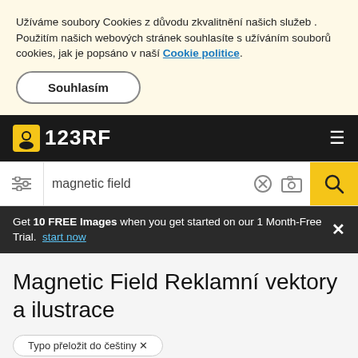Užíváme soubory Cookies z důvodu zkvalitnění našich služeb . Použitím našich webových stránek souhlasíte s užíváním souborů cookies, jak je popsáno v naší Cookie politice.
Souhlasím
123RF
magnetic field
Get 10 FREE Images when you get started on our 1 Month-Free Trial. start now
Magnetic Field Reklamní vektory a ilustrace